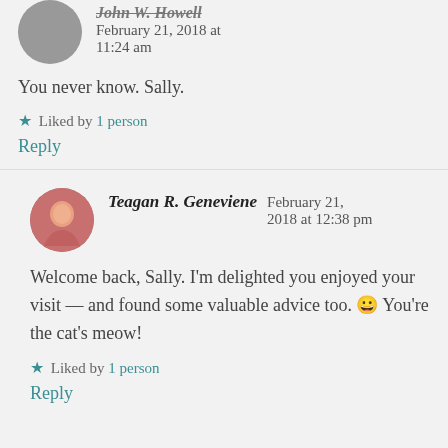11:24 am
You never know. Sally.
★ Liked by 1 person
Reply
Teagan R. Geneviene  February 21, 2018 at 12:38 pm
Welcome back, Sally. I'm delighted you enjoyed your visit — and found some valuable advice too. 😀 You're the cat's meow!
★ Liked by 1 person
Reply